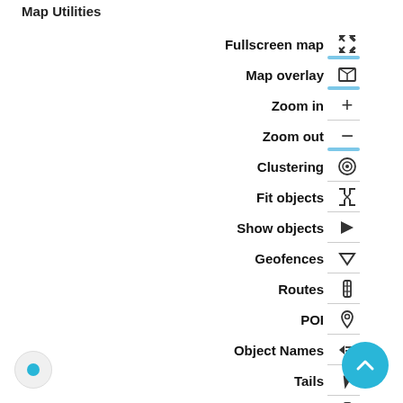Map Utilities
Fullscreen map
Map overlay
Zoom in
Zoom out
Clustering
Fit objects
Show objects
Geofences
Routes
POI
Object Names
Tails
Live Traffic